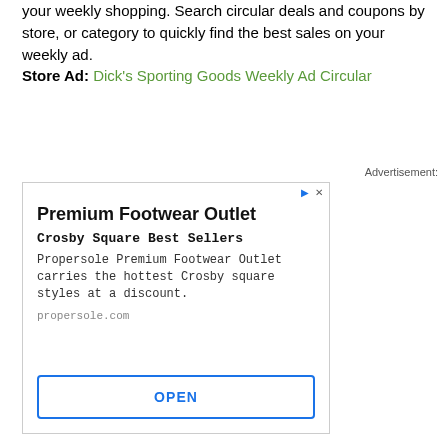your weekly shopping. Search circular deals and coupons by store, or category to quickly find the best sales on your weekly ad. Store Ad: Dick's Sporting Goods Weekly Ad Circular
Advertisement:
[Figure (other): Advertisement box for Premium Footwear Outlet / Crosby Square Best Sellers. Contains title 'Premium Footwear Outlet', subtitle 'Crosby Square Best Sellers', body text 'Propersole Premium Footwear Outlet carries the hottest Crosby square styles at a discount.', URL 'propersole.com', and an OPEN button.]